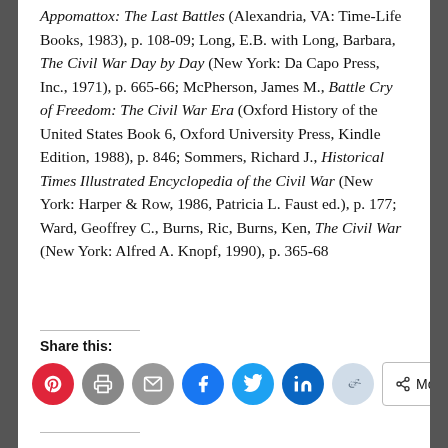Appomattox: The Last Battles (Alexandria, VA: Time-Life Books, 1983), p. 108-09; Long, E.B. with Long, Barbara, The Civil War Day by Day (New York: Da Capo Press, Inc., 1971), p. 665-66; McPherson, James M., Battle Cry of Freedom: The Civil War Era (Oxford History of the United States Book 6, Oxford University Press, Kindle Edition, 1988), p. 846; Sommers, Richard J., Historical Times Illustrated Encyclopedia of the Civil War (New York: Harper & Row, 1986, Patricia L. Faust ed.), p. 177; Ward, Geoffrey C., Burns, Ric, Burns, Ken, The Civil War (New York: Alfred A. Knopf, 1990), p. 365-68
Share this: